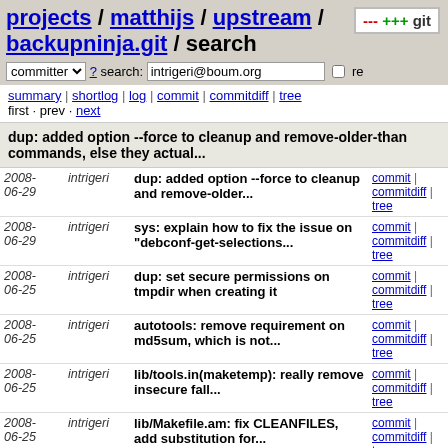projects / matthijs / upstream / backupninja.git / search
committer ? search: intrigeri@boum.org re
summary | shortlog | log | commit | commitdiff | tree
first · prev · next
dup: added option --force to cleanup and remove-older-than commands, else they actual...
| date | author | message | links |
| --- | --- | --- | --- |
| 2008-06-29 | intrigeri | dup: added option --force to cleanup and remove-older... | commit | commitdiff | tree |
| 2008-06-29 | intrigeri | sys: explain how to fix the issue on "debconf-get-selections... | commit | commitdiff | tree |
| 2008-06-25 | intrigeri | dup: set secure permissions on tmpdir when creating it | commit | commitdiff | tree |
| 2008-06-25 | intrigeri | autotools: remove requirement on md5sum, which is not... | commit | commitdiff | tree |
| 2008-06-25 | intrigeri | lib/tools.in(maketemp): really remove insecure fall... | commit | commitdiff | tree |
| 2008-06-25 | intrigeri | lib/Makefile.am: fix CLEANFILES, add substitution for... | commit | commitdiff | tree |
| 2008-06-25 | intrigeri | sys: make debconf-get-selections detection on VServers... | commit | commitdiff | tree |
| 2008-06-25 | intrigeri | sys: fix catifexec invocations with arguments to prevent... | commit | commitdiff | tree |